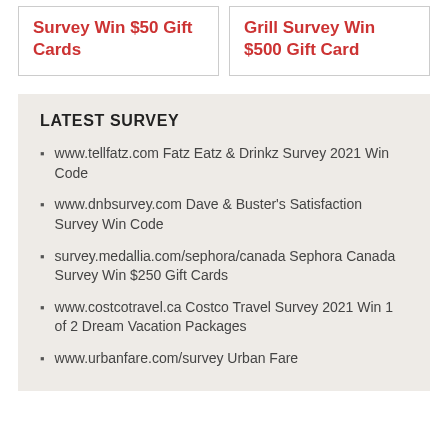Survey Win $50 Gift Cards
Grill Survey Win $500 Gift Card
LATEST SURVEY
www.tellfatz.com Fatz Eatz & Drinkz Survey 2021 Win Code
www.dnbsurvey.com Dave & Buster's Satisfaction Survey Win Code
survey.medallia.com/sephora/canada Sephora Canada Survey Win $250 Gift Cards
www.costcotravel.ca Costco Travel Survey 2021 Win 1 of 2 Dream Vacation Packages
www.urbanfare.com/survey Urban Fare